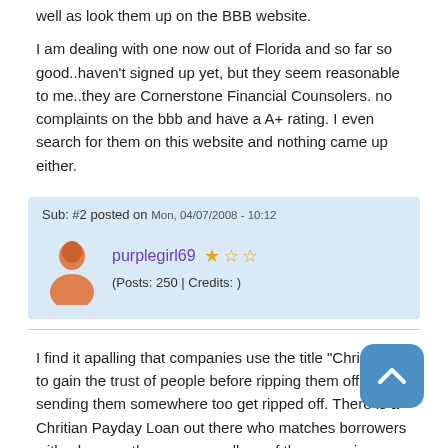well as look them up on the BBB website.
I am dealing with one now out of Florida and so far so good..haven't signed up yet, but they seem reasonable to me..they are Cornerstone Financial Counsolers. no complaints on the bbb and have a A+ rating. I even search for them on this website and nothing came up either.
Sub: #2 posted on Mon, 04/07/2008 - 10:12
purplegirl69 ★ ☆ ☆
(Posts: 250 | Credits: )
I find it apalling that companies use the title "Christian" to gain the trust of people before ripping them off or sending them somewhere too get ripped off. There is a Chritian Payday Loan out there who matches borrowers with who ever they can regardless of the comanies legality and reputation. But when I think of that TV guy